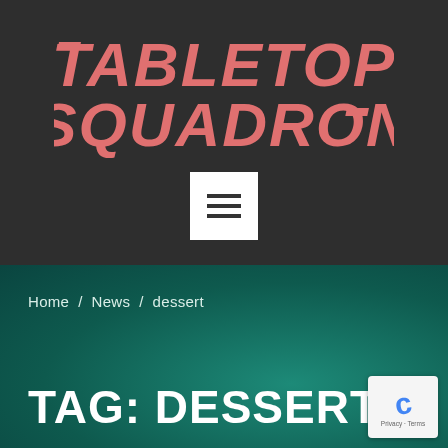[Figure (logo): Tabletop Squadron logo in Star Wars-style bold italic pink/salmon text on dark background]
[Figure (other): Hamburger menu button - white square with three horizontal dark bars]
Home / News / dessert
TAG: DESSERT
[Figure (other): Google reCAPTCHA badge with blue C logo and Privacy - Terms text]